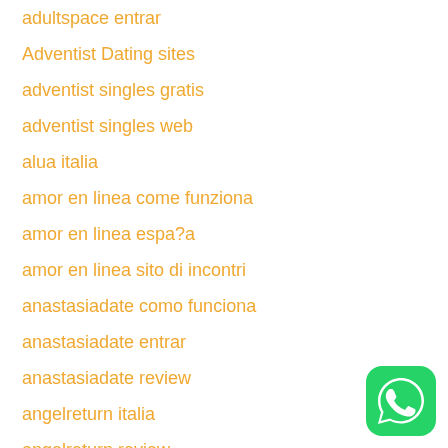adultspace entrar
Adventist Dating sites
adventist singles gratis
adventist singles web
alua italia
amor en linea come funziona
amor en linea espa?a
amor en linea sito di incontri
anastasiadate como funciona
anastasiadate entrar
anastasiadate review
angelreturn italia
angelreturn review
arablounge come funziona
arizona-tucson-dating review
[Figure (logo): WhatsApp logo icon, green circular background with white speech bubble phone icon]